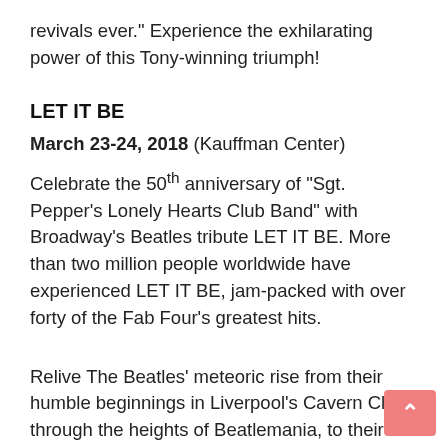revivals ever.” Experience the exhilarating power of this Tony-winning triumph!
LET IT BE
March 23-24, 2018 (Kauffman Center)
Celebrate the 50th anniversary of “Sgt. Pepper’s Lonely Hearts Club Band” with Broadway’s Beatles tribute LET IT BE. More than two million people worldwide have experienced LET IT BE, jam-packed with over forty of the Fab Four’s greatest hits.
Relive The Beatles’ meteoric rise from their humble beginnings in Liverpool’s Cavern Club, through the heights of Beatlemania, to their later studio